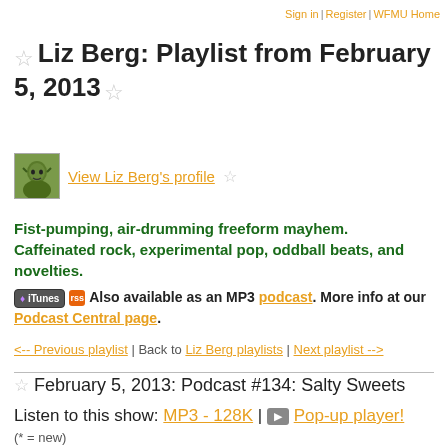Sign in | Register | WFMU Home
☆ Liz Berg: Playlist from February 5, 2013 ☆
View Liz Berg's profile ☆
Fist-pumping, air-drumming freeform mayhem. Caffeinated rock, experimental pop, oddball beats, and novelties.
Also available as an MP3 podcast. More info at our Podcast Central page.
<-- Previous playlist | Back to Liz Berg playlists | Next playlist -->
☆ February 5, 2013: Podcast #134: Salty Sweets
Listen to this show: MP3 - 128K | ▶ Pop-up player!
(* = new)